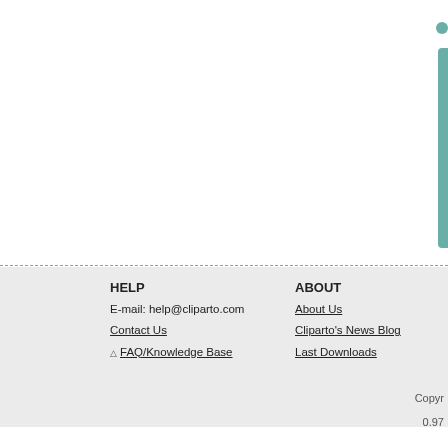HELP
E-mail: help@cliparto.com
Contact Us
△ FAQ/Knowledge Base
ABOUT
About Us
Clipart's News Blog
Last Downloads
Copyr
0.97